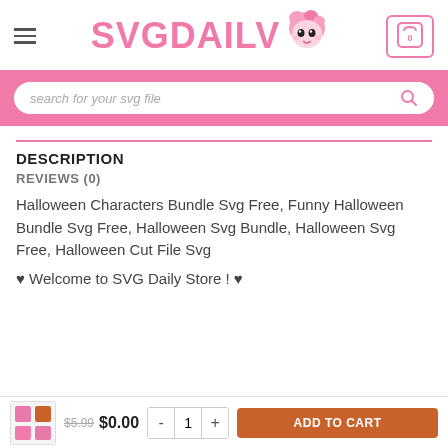SVGDAILV — hamburger menu, logo with mascot, cart icon (0)
search for your svg file
DESCRIPTION
REVIEWS (0)
Halloween Characters Bundle Svg Free, Funny Halloween Bundle Svg Free, Halloween Svg Bundle, Halloween Svg Free, Halloween Cut File Svg
♥ Welcome to SVG Daily Store ! ♥
$5.99  $0.00  -  1  +  ADD TO CART